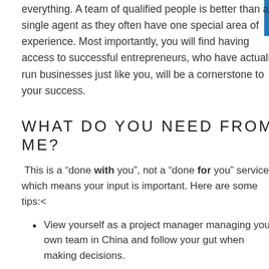everything. A team of qualified people is better than a single agent as they often have one special area of experience. Most importantly, you will find having access to successful entrepreneurs, who have actually run businesses just like you, will be a cornerstone to your success.
WHAT DO YOU NEED FROM ME?
This is a “done with you”, not a “done for you” service, which means your input is important. Here are some tips:<
View yourself as a project manager managing your own team in China and follow your gut when making decisions.
We need your trust in our experience.
It’s important to be able to change direction quickly and especially if we have a point to find...